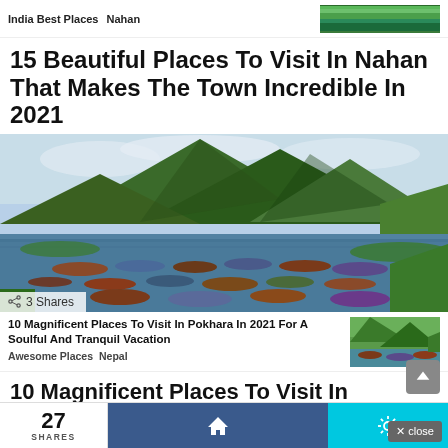India Best Places  Nahan
15 Beautiful Places To Visit In Nahan That Makes The Town Incredible In 2021
[Figure (photo): Scenic lake with colorful wooden boats, lush green mountains in the background under a partly cloudy sky. Share badge shows 3 Shares.]
10 Magnificent Places To Visit In Pokhara In 2021 For A Soulful And Tranquil Vacation
Awesome Places  Nepal
10 Magnificent Places To Visit In Pokhara In 2021 For A Soulful And Tranquil Vacation
27 SHARES